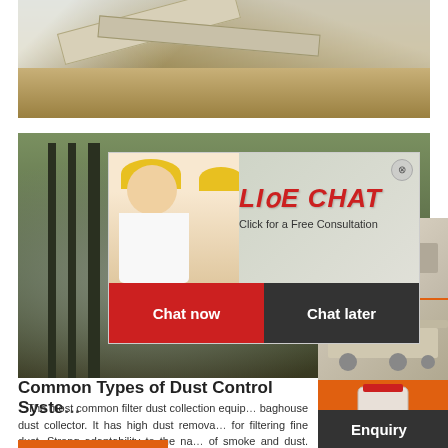[Figure (photo): Industrial mining/crushing equipment machinery at a quarry site]
[Figure (photo): Industrial machinery site with pipes and equipment, with a live chat popup overlay showing workers in yellow hard hats, LIVE CHAT text, Chat now and Chat later buttons]
[Figure (infographic): Orange sidebar with industrial machine images, '3% discount' yellow bar, 'Click to Chat' dashed bar with arrow icon, and Enquiry dark bar]
Common Types of Dust Control Syste...
The most common filter dust collection equip... baghouse dust collector. It has high dust remova... for filtering fine dust. Strong adaptability to the na... of smoke and dust. The processing air volume and... filter can be customized according to the scale of t...